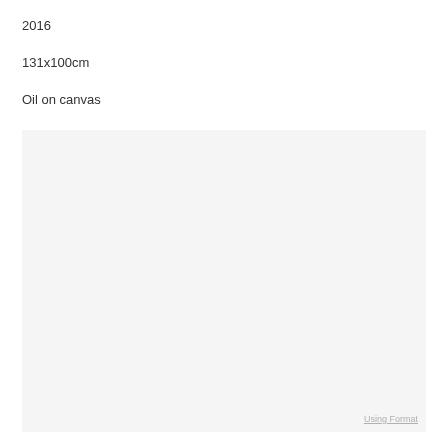2016
131x100cm
Oil on canvas
[Figure (photo): Large light grey/off-white rectangular image placeholder area]
Using Format